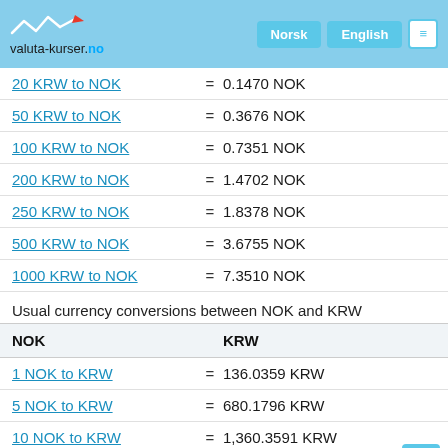valuta-kurser.no
| KRW to NOK | = | NOK |
| --- | --- | --- |
| 20 KRW to NOK | = | 0.1470 NOK |
| 50 KRW to NOK | = | 0.3676 NOK |
| 100 KRW to NOK | = | 0.7351 NOK |
| 200 KRW to NOK | = | 1.4702 NOK |
| 250 KRW to NOK | = | 1.8378 NOK |
| 500 KRW to NOK | = | 3.6755 NOK |
| 1000 KRW to NOK | = | 7.3510 NOK |
Usual currency conversions between NOK and KRW
| NOK |  | KRW |
| --- | --- | --- |
| 1 NOK to KRW | = | 136.0359 KRW |
| 5 NOK to KRW | = | 680.1796 KRW |
| 10 NOK to KRW | = | 1,360.3591 KRW |
| 20 NOK to KRW | = | 2,720.7183 KRW |